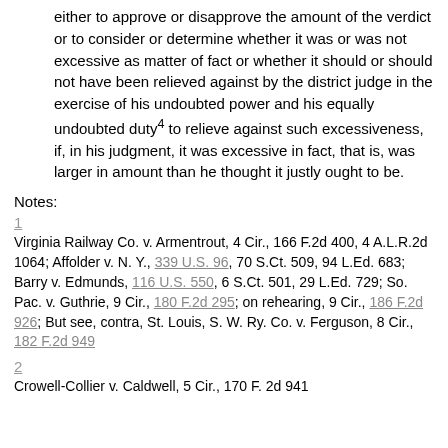either to approve or disapprove the amount of the verdict or to consider or determine whether it was or was not excessive as matter of fact or whether it should or should not have been relieved against by the district judge in the exercise of his undoubted power and his equally undoubted duty⁴ to relieve against such excessiveness, if, in his judgment, it was excessive in fact, that is, was larger in amount than he thought it justly ought to be.
Notes:
1
Virginia Railway Co. v. Armentrout, 4 Cir., 166 F.2d 400, 4 A.L.R.2d 1064; Affolder v. N. Y., 339 U.S. 96, 70 S.Ct. 509, 94 L.Ed. 683; Barry v. Edmunds, 116 U.S. 550, 6 S.Ct. 501, 29 L.Ed. 729; So. Pac. v. Guthrie, 9 Cir., 180 F.2d 295; on rehearing, 9 Cir., 186 F.2d 926; But see, contra, St. Louis, S. W. Ry. Co. v. Ferguson, 8 Cir., 182 F.2d 949
2
Crowell-Collier v. Caldwell, 5 Cir., 170 F. 2d 941